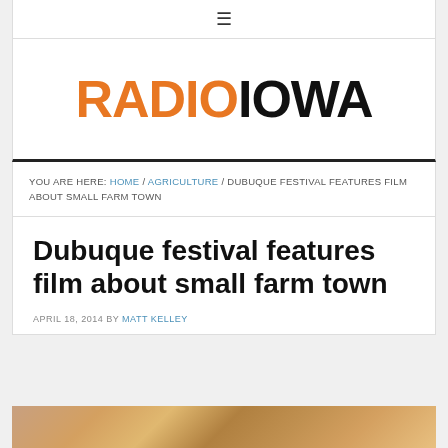☰
[Figure (logo): Radio Iowa logo with RADIO in orange and IOWA in black bold text]
YOU ARE HERE: HOME / AGRICULTURE / DUBUQUE FESTIVAL FEATURES FILM ABOUT SMALL FARM TOWN
Dubuque festival features film about small farm town
APRIL 18, 2014 BY MATT KELLEY
[Figure (photo): Partial view of a photo at bottom of page, colorful image partially cropped]